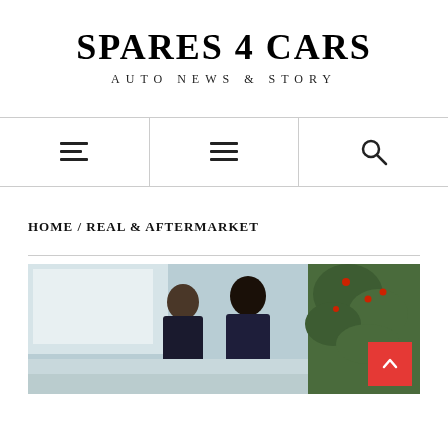SPARES 4 CARS
AUTO NEWS & STORY
[Figure (other): Navigation bar with left-aligned hamburger menu icon, center hamburger menu icon, and right search (magnifying glass) icon]
HOME / REAL & AFTERMARKET
[Figure (photo): Two people, a woman and a man, looking down at something together in what appears to be a car dealership or showroom with plants and holiday decorations in the background]